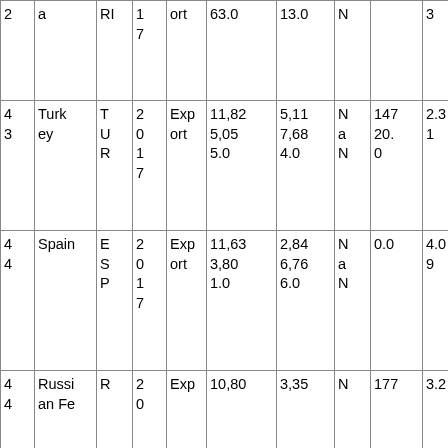| 2 | a | RI | 1
7 | ort | 63.0 | 13.0 | N |  | 3 |
| 4
3 | Turkey | T
U
R | 2
0
1
7 | Export | 11,825,05
5.0 | 5,11
7,68
4.0 | N
a
N | 147
20.
0 | 2.3
1 |
| 4
4 | Spain | E
S
P | 2
0
1
7 | Export | 11,63
3,80
1.0 | 2,84
6,76
6.0 | N
a
N | 0.0 | 4.0
9 |
| 4
4 | Russian Fe | R | 2
0 | Exp | 10,80 | 3,35 | N | 177 | 3.2 |